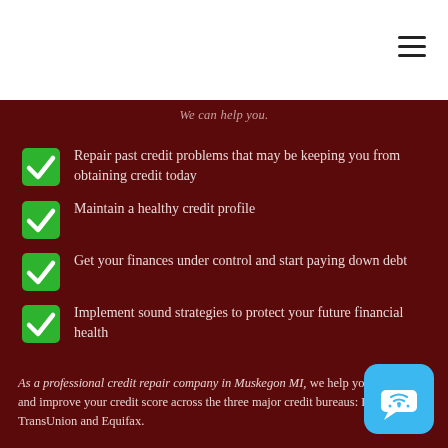We can help you.
Repair past credit problems that may be keeping you from obtaining credit today
Maintain a healthy credit profile
Get your finances under control and start paying down debt
Implement sound strategies to protect your future financial health
As a professional credit repair company in Muskegon MI, we help you increase and improve your credit score across the three major credit bureaus: Experian, TransUnion and Equifax.